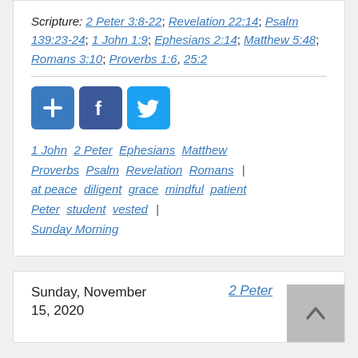Scripture: 2 Peter 3:8-22; Revelation 22:14; Psalm 139:23-24; 1 John 1:9; Ephesians 2:14; Matthew 5:48; Romans 3:10; Proverbs 1:6, 25:2
[Figure (other): Three social share buttons: a blue plus/add button, a Facebook button, and a Twitter button]
1 John  2 Peter  Ephesians  Matthew  Proverbs  Psalm  Revelation  Romans  |  at peace  diligent  grace  mindful  patient  Peter  student  vested  |  Sunday Morning
Sunday, November 15, 2020
2 Peter